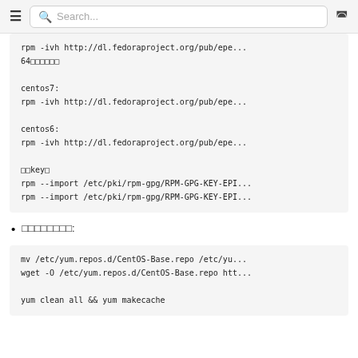≡  Search...  ☽
rpm -ivh http://dl.fedoraproject.org/pub/epe...
64□□□□□□

centos7:
rpm -ivh http://dl.fedoraproject.org/pub/epe...

centos6:
rpm -ivh http://dl.fedoraproject.org/pub/epe...

□□key□
rpm --import /etc/pki/rpm-gpg/RPM-GPG-KEY-EPI...
rpm --import /etc/pki/rpm-gpg/RPM-GPG-KEY-EPI...
□□□□□□□□:
mv /etc/yum.repos.d/CentOS-Base.repo /etc/yu...
wget -O /etc/yum.repos.d/CentOS-Base.repo htt...

yum clean all && yum makecache